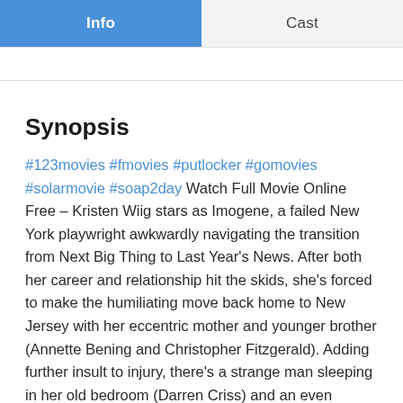Info | Cast
Synopsis
#123movies #fmovies #putlocker #gomovies #solarmovie #soap2day Watch Full Movie Online Free – Kristen Wiig stars as Imogene, a failed New York playwright awkwardly navigating the transition from Next Big Thing to Last Year's News. After both her career and relationship hit the skids, she's forced to make the humiliating move back home to New Jersey with her eccentric mother and younger brother (Annette Bening and Christopher Fitzgerald). Adding further insult to injury, there's a strange man sleeping in her old bedroom (Darren Criss) and an even stranger man sleeping in her mother's bed (Matt Dillon). Through it all, Imogene eventually realizes that as part of her rebuilding